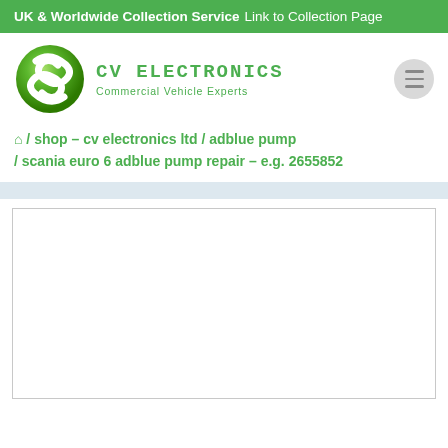UK & Worldwide Collection Service  Link to Collection Page
[Figure (logo): CV Electronics logo: green sphere with white wave/swirl and green text 'CV ELECTRONICS Commercial Vehicle Experts']
/ shop – cv electronics ltd / adblue pump / scania euro 6 adblue pump repair – e.g. 2655852
[Figure (photo): Product image placeholder area (white box with border)]